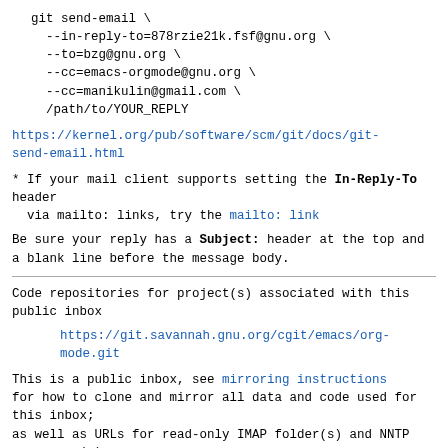git send-email \
  --in-reply-to=878rzie21k.fsf@gnu.org \
  --to=bzg@gnu.org \
  --cc=emacs-orgmode@gnu.org \
  --cc=manikulin@gmail.com \
  /path/to/YOUR_REPLY
https://kernel.org/pub/software/scm/git/docs/git-send-email.html
* If your mail client supports setting the In-Reply-To header
  via mailto: links, try the mailto: link
Be sure your reply has a Subject: header at the top and a blank line before the message body.
Code repositories for project(s) associated with this public inbox
https://git.savannah.gnu.org/cgit/emacs/org-mode.git
This is a public inbox, see mirroring instructions for how to clone and mirror all data and code used for this inbox;
as well as URLs for read-only IMAP folder(s) and NNTP newsgroup(s).